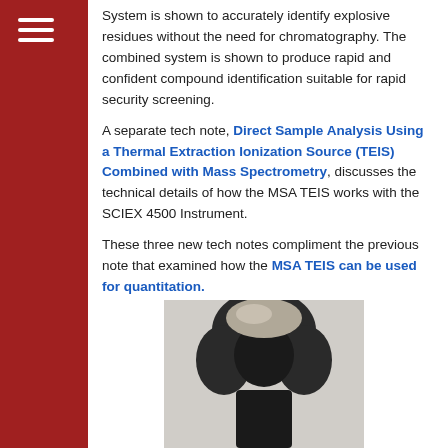System is shown to accurately identify explosive residues without the need for chromatography. The combined system is shown to produce rapid and confident compound identification suitable for rapid security screening.
A separate tech note, Direct Sample Analysis Using a Thermal Extraction Ionization Source (TEIS) Combined with Mass Spectrometry, discusses the technical details of how the MSA TEIS works with the SCIEX 4500 Instrument.
These three new tech notes compliment the previous note that examined how the MSA TEIS can be used for quantitation.
[Figure (infographic): Social sharing buttons: Facebook (blue), Twitter (light blue), LinkedIn (blue), Email (grey), Share (green)]
[Figure (photo): Bottom portion of a photo showing a person with a hood, dark background, partially cropped]